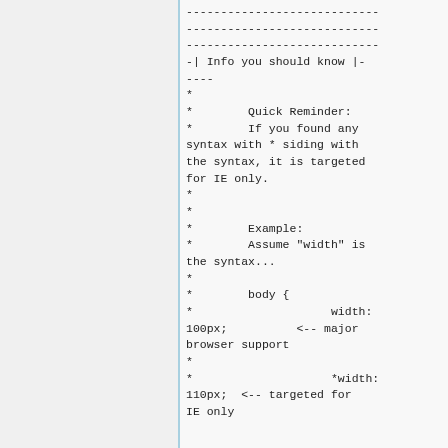----------------------------
----------------------------
----------------------------
-| Info you should know |-
----
*
*        Quick Reminder:
*        If you found any syntax with * siding with the syntax, it is targeted for IE only.
*
*
*        Example:
*        Assume "width" is the syntax...
*
*        body {
*                    width: 100px;          <-- major browser support
*
*                    *width: 110px;  <-- targeted for IE only